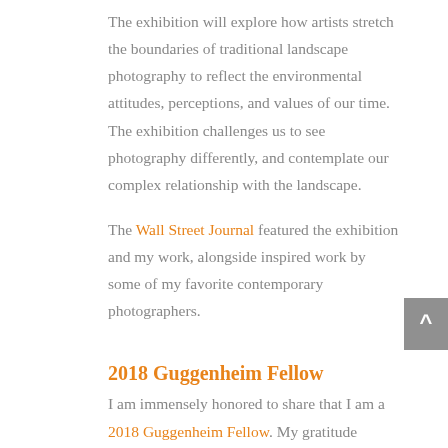The exhibition will explore how artists stretch the boundaries of traditional landscape photography to reflect the environmental attitudes, perceptions, and values of our time. The exhibition challenges us to see photography differently, and contemplate our complex relationship with the landscape.
The Wall Street Journal featured the exhibition and my work, alongside inspired work by some of my favorite contemporary photographers.
2018 Guggenheim Fellow
I am immensely honored to share that I am a 2018 Guggenheim Fellow. My gratitude overflows.
Solo exhibition Imprint extended to April 14th